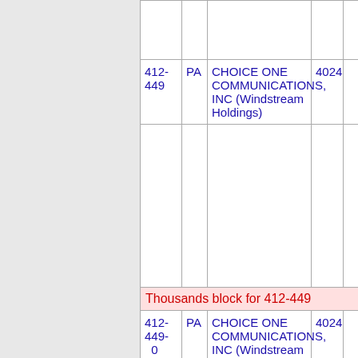| NPA | ST | Company Name | Num |  |
| --- | --- | --- | --- | --- |
| 412-449 | PA | CHOICE ONE COMMUNICATIONS, INC (Windstream Holdings) | 4024 |  |
| Thousands block for 412-449 |  |  |  |  |
| 412-449-0 | PA | CHOICE ONE COMMUNICATIONS, INC (Windstream | 4024 |  |